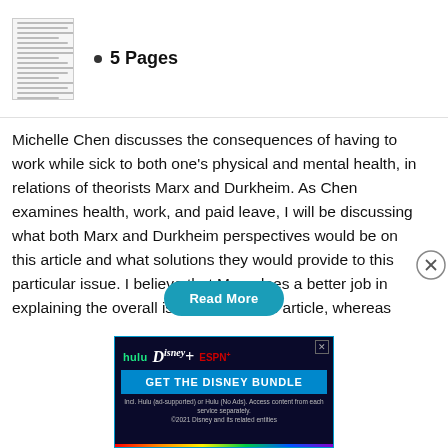[Figure (screenshot): Thumbnail image of a document page with multiple lines of text]
5 Pages
Michelle Chen discusses the consequences of having to work while sick to both one's physical and mental health, in relations of theorists Marx and Durkheim. As Chen examines health, work, and paid leave, I will be discussing what both Marx and Durkheim perspectives would be on this article and what solutions they would provide to this particular issue. I believe that Marx does a better job in explaining the overall issues within this article, whereas Durkheim would provide a more suitable…
[Figure (screenshot): Advertisement banner for Disney Bundle featuring Hulu, Disney+, and ESPN+ logos with blue background and CTA button]